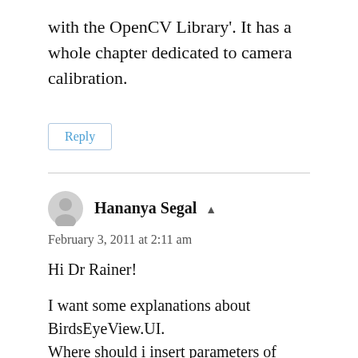with the OpenCV Library'. It has a whole chapter dedicated to camera calibration.
Reply
Hananya Segal ▲
February 3, 2011 at 2:11 am
Hi Dr Rainer!

I want some explanations about BirdsEyeView.UI.
Where should i insert parameters of distance from the chess board to the camera.
I'll appriciate if you may write some word how